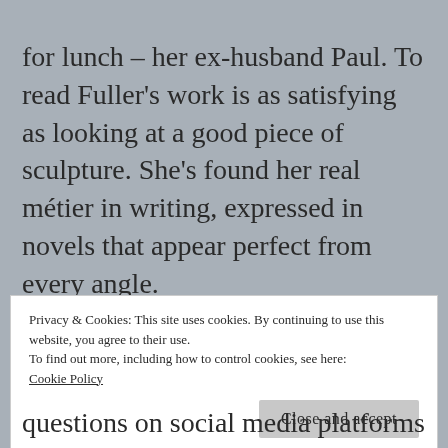for lunch – her ex-husband Paul. To read Fuller's work is as satisfying as looking at a good piece of sculpture. She's found her real métier in writing, expressed in novels that appear perfect from every angle.
Claire Fuller is the award-winning author of three novels all of which have themes and elements that unnerve the reader. Crafted in a lapidary narrative style her works resonate with shadowy paranormal motifs,
Privacy & Cookies: This site uses cookies. By continuing to use this website, you agree to their use.
To find out more, including how to control cookies, see here:
Cookie Policy
Close and accept
questions on social media platforms